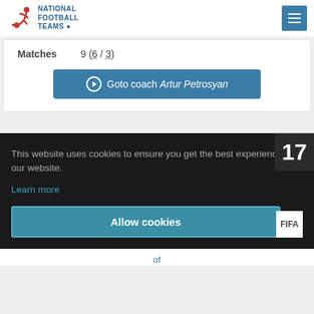NATIONAL FOOTBALL TEAMS
Matches  9 (6 / 3)
Goto coach Artur Petrosyan
This website uses cookies to ensure you get the best experience on our website.
Learn more
Allow cookies
17
FIFA
of